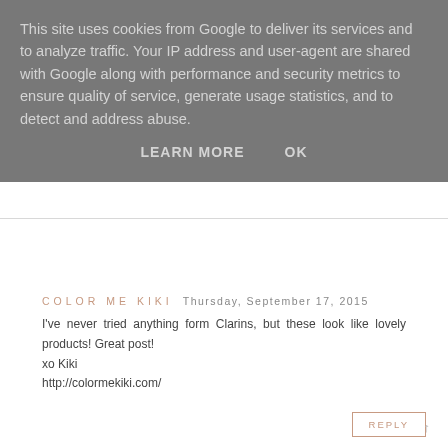This site uses cookies from Google to deliver its services and to analyze traffic. Your IP address and user-agent are shared with Google along with performance and security metrics to ensure quality of service, generate usage statistics, and to detect and address abuse.
LEARN MORE   OK
COLOR ME KIKI  Thursday, September 17, 2015
I've never tried anything form Clarins, but these look like lovely products! Great post!
xo Kiki
http://colormekiki.com/
REPLY